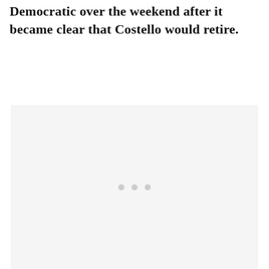Democratic over the weekend after it became clear that Costello would retire.
[Figure (other): A light gray placeholder image box with three small gray dots centered near the middle, indicating an image loading state.]